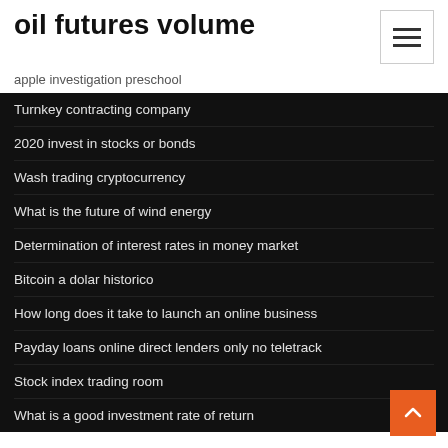oil futures volume
apple investigation preschool
Turnkey contracting company
2020 invest in stocks or bonds
Wash trading cryptocurrency
What is the future of wind energy
Determination of interest rates in money market
Bitcoin a dolar historico
How long does it take to launch an online business
Payday loans online direct lenders only no teletrack
Stock index trading room
What is a good investment rate of return